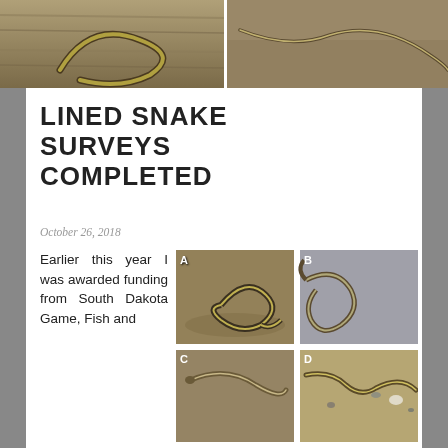[Figure (photo): Top banner showing two snake photos side by side — left shows a snake on wooden surface, right shows a thin snake on sandy/brown ground]
LINED SNAKE SURVEYS COMPLETED
October 26, 2018
Earlier this year I was awarded funding from South Dakota Game, Fish and
[Figure (photo): Grid of 6 snake photos labeled A-F: A) coiled garter/lined snake on sandy ground, B) snake looped on gray rock surface, C) lined snake on sandy soil, D) snake on sandy gravelly ground, E) partial view snake on rocky ground, F) partial close-up of snake showing stripes]